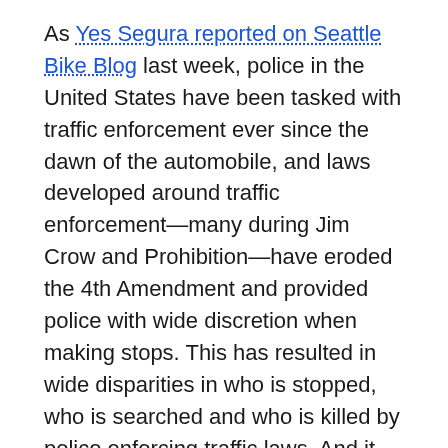As Yes Segura reported on Seattle Bike Blog last week, police in the United States have been tasked with traffic enforcement ever since the dawn of the automobile, and laws developed around traffic enforcement—many during Jim Crow and Prohibition—have eroded the 4th Amendment and provided police with wide discretion when making stops. This has resulted in wide disparities in who is stopped, who is searched and who is killed by police enforcing traffic laws. And it affects people walking, biking, driving and riding transit.
“Traffic enforcement is too often the pretext for armed police to stop Black and brown people, sometimes with catastrophic consequences,” SNG wrote in a blog post announcing the task force. “There must be a better way — but what exactly?”
SNG has a good track record of researching and